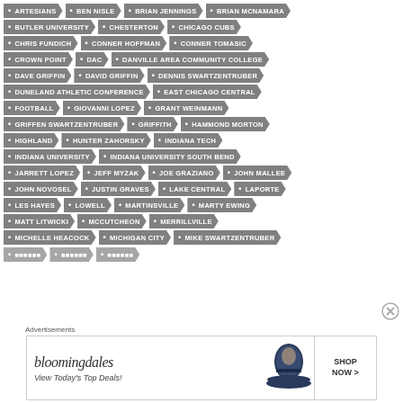ARTESIANS
BEN NISLE
BRIAN JENNINGS
BRIAN MCNAMARA
BUTLER UNIVERSITY
CHESTERTON
CHICAGO CUBS
CHRIS FUNDICH
CONNER HOFFMAN
CONNER TOMASIC
CROWN POINT
DAC
DANVILLE AREA COMMUNITY COLLEGE
DAVE GRIFFIN
DAVID GRIFFIN
DENNIS SWARTZENTRUBER
DUNELAND ATHLETIC CONFERENCE
EAST CHICAGO CENTRAL
FOOTBALL
GIOVANNI LOPEZ
GRANT WEINMANN
GRIFFEN SWARTZENTRUBER
GRIFFITH
HAMMOND MORTON
HIGHLAND
HUNTER ZAHORSKY
INDIANA TECH
INDIANA UNIVERSITY
INDIANA UNIVERSITY SOUTH BEND
JARRETT LOPEZ
JEFF MYZAK
JOE GRAZIANO
JOHN MALLEE
JOHN NOVOSEL
JUSTIN GRAVES
LAKE CENTRAL
LAPORTE
LES HAYES
LOWELL
MARTINSVILLE
MARTY EWING
MATT LITWICKI
MCCUTCHEON
MERRILLVILLE
MICHELLE HEACOCK
MICHIGAN CITY
MIKE SWARTZENTRUBER
Advertisements
[Figure (screenshot): Bloomingdales advertisement: 'View Today's Top Deals!' with SHOP NOW > button and woman in hat image]